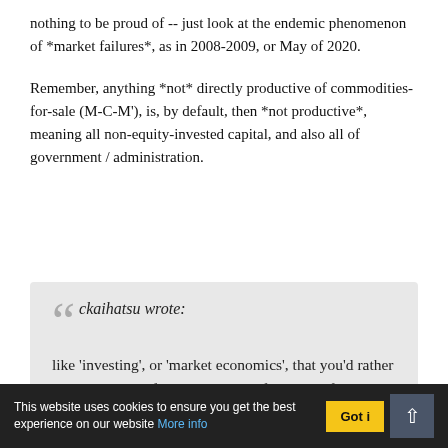nothing to be proud of -- just look at the endemic phenomenon of *market failures*, as in 2008-2009, or May of 2020.
Remember, anything *not* directly productive of commodities-for-sale (M-C-M'), is, by default, then *not productive*, meaning all non-equity-invested capital, and also all of government / administration.
ckaihatsu wrote: like 'investing', or 'market economics', that you'd rather modern social life be some kind of rat-maze for everyone,
This website uses cookies to ensure you get the best experience on our website More info